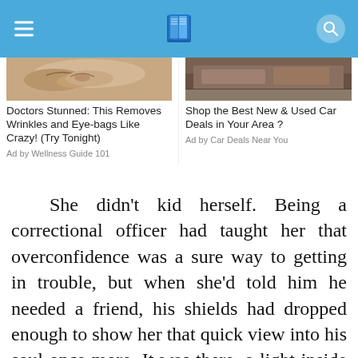[Figure (screenshot): App header bar with blue background, hamburger menu icon on left, book/reading icon in center, search icon on right]
[Figure (photo): Partial image of a face (eye area) for wrinkles ad]
Doctors Stunned: This Removes Wrinkles and Eye-bags Like Crazy! (Try Tonight)
Ad by Wellness Guide 101
[Figure (photo): Partial image of a car interior/exterior for car deals ad]
Shop the Best New & Used Car Deals in Your Area ?
Ad by Car Deals Near You
She didn't kid herself. Being a correctional officer had taught her that overconfidence was a sure way to getting in trouble, but when she'd told him he needed a friend, his shields had dropped enough to show her that quick view into his soul once more. It was there, a light inside all those thorns. He wouldn't appreciate the analogy, but she really was starting to feel like the prince in Sleeping Beauty, hacking through